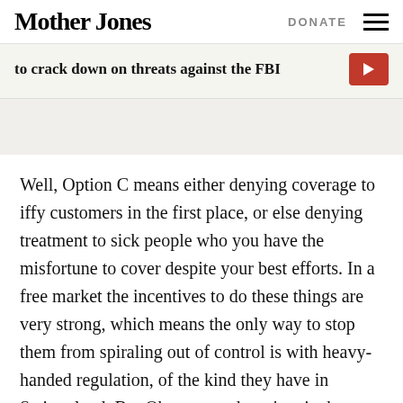Mother Jones | DONATE
to crack down on threats against the FBI
Well, Option C means either denying coverage to iffy customers in the first place, or else denying treatment to sick people who you have the misfortune to cover despite your best efforts. In a free market the incentives to do these things are very strong, which means the only way to stop them from spiraling out of control is with heavy-handed regulation, of the kind they have in Switzerland. But Obamacare doesn't quite have regulations that heavy-handed, and that's going to cause some